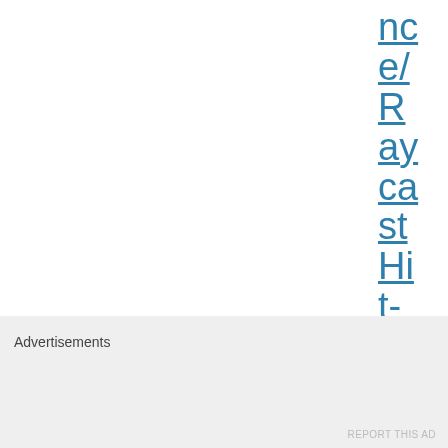nce/Raycast Hit-trian
[Figure (other): Close/dismiss button — circle with X icon]
Advertisements
REPORT THIS AD